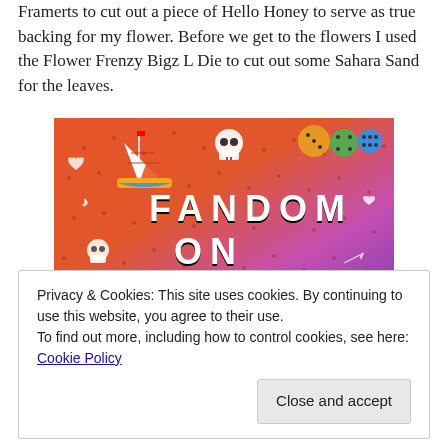Framerts to cut out a piece of Hello Honey to serve as true backing for my flower. Before we get to the flowers I used the Flower Frenzy Bigz L Die to cut out some Sahara Sand for the leaves.
[Figure (screenshot): Colorful gradient image with orange to purple background featuring FANDOM ON tumblr text with various icons including a sailboat, skull, dice, music notes, arrows, and other doodles]
Privacy & Cookies: This site uses cookies. By continuing to use this website, you agree to their use.
To find out more, including how to control cookies, see here: Cookie Policy